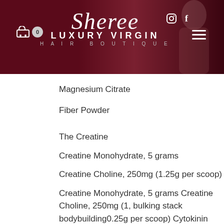[Figure (screenshot): Sheree Luxury Virgin Hair Boutique website header banner with dark red/maroon background, logo, cart icon, social media icons, and hamburger menu]
Magnesium Citrate
Fiber Powder
The Creatine
Creatine Monohydrate, 5 grams
Creatine Choline, 250mg (1.25g per scoop)
Creatine Monohydrate, 5 grams Creatine Choline, 250mg (1, bulking stack bodybuilding0.25g per scoop) Cytokinin
Cytokinin, 150mg (1.5 to 2g/each scoop)